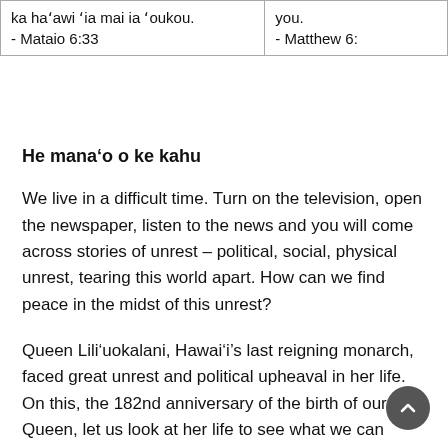| ka ha'awi 'ia mai ia 'oukou.
- Mataio 6:33 | you.
- Matthew 6: |
He mana'o o ke kahu
We live in a difficult time. Turn on the television, open the newspaper, listen to the news and you will come across stories of unrest – political, social, physical unrest, tearing this world apart. How can we find peace in the midst of this unrest?
Queen Lili'uokalani, Hawai'i's last reigning monarch, faced great unrest and political upheaval in her life. On this, the 182nd anniversary of the birth of our Queen, let us look at her life to see what we can learn